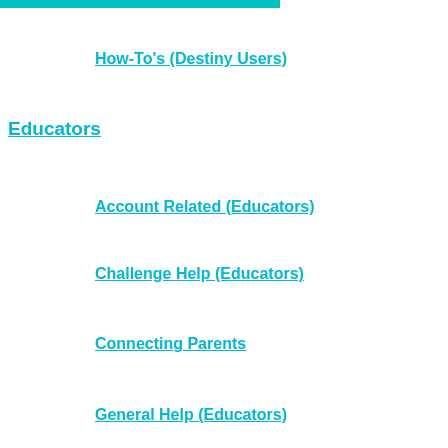How-To's (Destiny Users)
Educators
Account Related (Educators)
Challenge Help (Educators)
Connecting Parents
General Help (Educators)
Getting Started (Educators)
Groups (Educators, Non-Destiny)
How-To's (Educators)
Getting Started
Parents
Account Related (Parents)
Challenge Help for Parents
General Help (Parents)